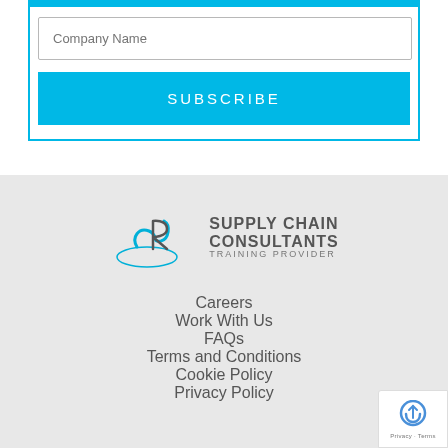[Figure (other): Form input field with placeholder text 'Company Name' and a cyan/blue Subscribe button below it, inside a cyan-bordered container]
[Figure (logo): Supply Chain Consultants Training Provider logo with stylized SR monogram in blue and grey text]
Careers
Work With Us
FAQs
Terms and Conditions
Cookie Policy
Privacy Policy